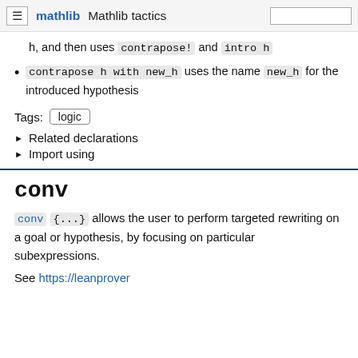≡  mathlib  Mathlib tactics  [search box]
h, and then uses contrapose! and intro h
contrapose h with new_h uses the name new_h for the introduced hypothesis
Tags:  logic
▶ Related declarations
▶ Import using
conv
conv {...} allows the user to perform targeted rewriting on a goal or hypothesis, by focusing on particular subexpressions.
See https://leanprover